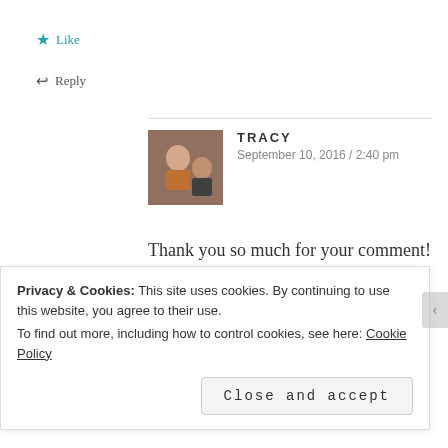★ Like
↩ Reply
TRACY
September 10, 2016 / 2:40 pm
Thank you so much for your comment!
★ Like
↩ Reply
Privacy & Cookies: This site uses cookies. By continuing to use this website, you agree to their use.
To find out more, including how to control cookies, see here: Cookie Policy
Close and accept